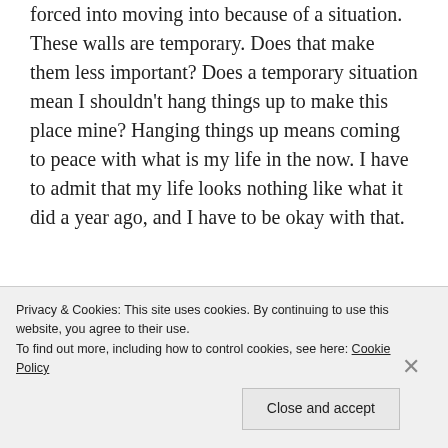forced into moving into because of a situation. These walls are temporary. Does that make them less important? Does a temporary situation mean I shouldn't hang things up to make this place mine? Hanging things up means coming to peace with what is my life in the now. I have to admit that my life looks nothing like what it did a year ago, and I have to be okay with that.
[Figure (other): Advertisement banner for WordPress Hosting with dark navy background, a P logo box, text 'WORDPRESS HOSTING THAT MEANS BUSINESS.' and an image of an OPEN sign on the right side.]
After confronting a lot of feelings, a nice hot bath, and a
Privacy & Cookies: This site uses cookies. By continuing to use this website, you agree to their use.
To find out more, including how to control cookies, see here: Cookie Policy
Close and accept